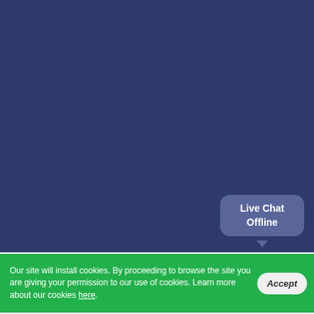Shared Website Hosting Support
VPS Hosting Support
Semi-dedicated Hosting Support
Dedicated Web Hosting Support
Dedicated Admin Services
VPS Admin Services
Definitions
Contact Us
Our ID: 86354
US: +1-855-211-0932
US: +1-727-546-HOST(4678)
UK: +44-20-3695-1294
AU: +61-2-8417-2372
[Figure (other): Live Chat Offline button/bubble]
Our site will install cookies. By proceeding to browse the site you are giving your permission to our use of cookies. Learn more about our cookies here.